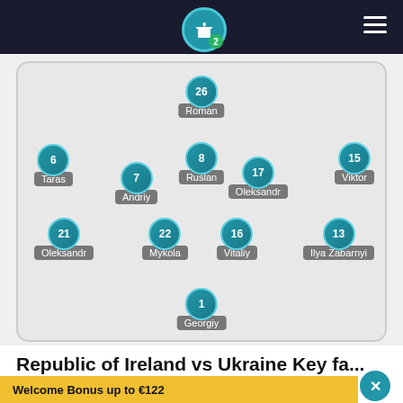[Figure (infographic): Top navigation bar with gift icon (badge showing 2) and hamburger menu on dark background]
[Figure (infographic): Football/soccer lineup diagram for Ukraine showing players in formation: Goalkeeper Georgiy (1), Defenders: Oleksandr (21), Mykola (22), Vitaliy (16), Ilya Zabarnyi (13), Midfielders: Taras (6), Andriy (7), Ruslan (8), Oleksandr (17), Viktor (15), Forward: Roman (26)]
Republic of Ireland vs Ukraine Key fa...
Welcome Bonus up to €122